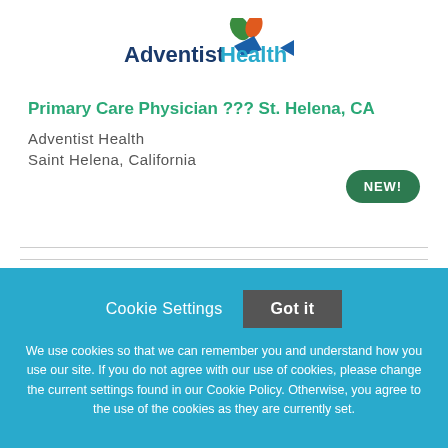[Figure (logo): Adventist Health logo with green leaf, orange leaf, and blue geometric shape above the text 'AdventistHealth']
Primary Care Physician ??? St. Helena, CA
Adventist Health
Saint Helena, California
NEW!
Cookie Settings
Got it
We use cookies so that we can remember you and understand how you use our site. If you do not agree with our use of cookies, please change the current settings found in our Cookie Policy. Otherwise, you agree to the use of the cookies as they are currently set.